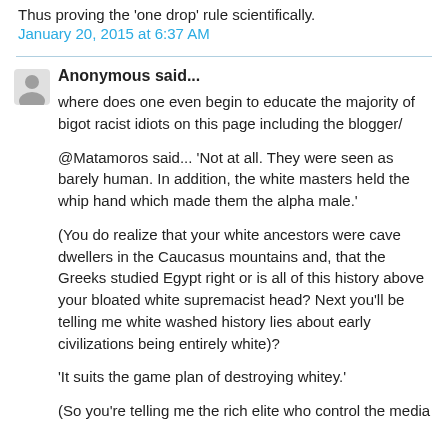Thus proving the 'one drop' rule scientifically.
January 20, 2015 at 6:37 AM
Anonymous said...
where does one even begin to educate the majority of bigot racist idiots on this page including the blogger/
@Matamoros said... 'Not at all. They were seen as barely human. In addition, the white masters held the whip hand which made them the alpha male.'
(You do realize that your white ancestors were cave dwellers in the Caucasus mountains and, that the Greeks studied Egypt right or is all of this history above your bloated white supremacist head? Next you'll be telling me white washed history lies about early civilizations being entirely white)?
'It suits the game plan of destroying whitey.'
(So you're telling me the rich elite who control the media